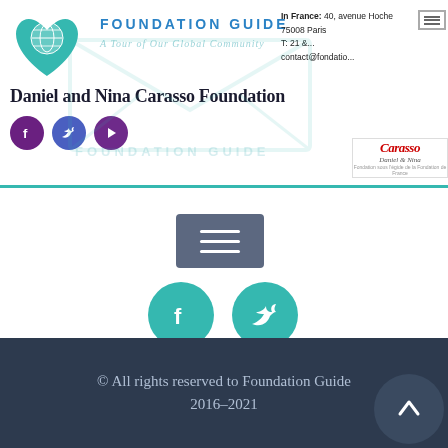FOUNDATION GUIDE
Daniel and Nina Carasso Foundation
In France: 40, avenue Hoche 75008 Paris contact@fondatio...
[Figure (logo): Teal globe-heart logo icon for Foundation Guide]
[Figure (logo): Carasso Daniel & Nina foundation logo]
[Figure (infographic): Social media icons: Facebook, Twitter, YouTube circles in purple/blue]
[Figure (infographic): Hamburger menu toggle button (gray rectangle with three white lines)]
[Figure (infographic): Larger Facebook and Twitter circle icons in teal]
© All rights reserved to Foundation Guide 2016–2021